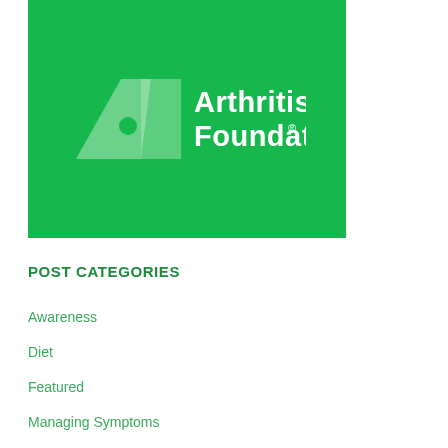[Figure (logo): Arthritis Foundation logo: white stylized 'A' flag/kite shape with a circle cutout, followed by 'Arthritis Foundation®' in white bold text, all on a green background.]
POST CATEGORIES
Awareness
Diet
Featured
Managing Symptoms